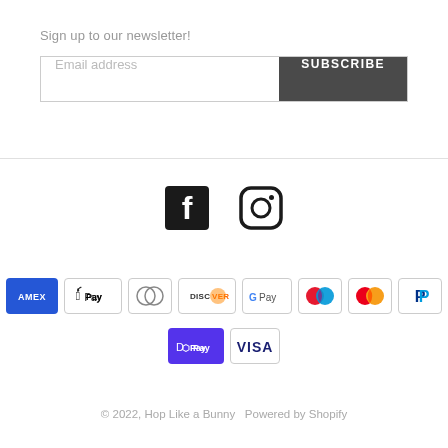Sign up to our newsletter!
[Figure (screenshot): Email address input field with SUBSCRIBE button]
[Figure (infographic): Social media icons: Facebook and Instagram]
[Figure (infographic): Payment method icons: Amex, Apple Pay, Diners Club, Discover, Google Pay, Maestro, Mastercard, PayPal, Shop Pay, Visa]
© 2022, Hop Like a Bunny  Powered by Shopify